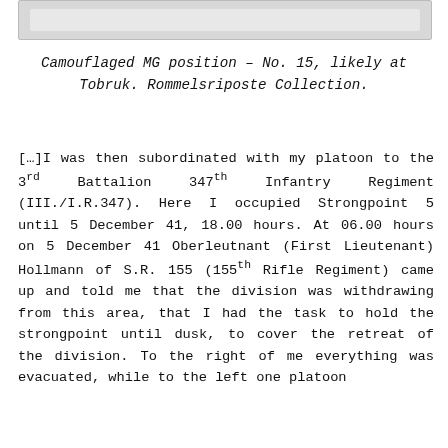[Figure (photo): Top portion of a photograph showing a camouflaged MG position, partially cropped at top of page]
Camouflaged MG position – No. 15, likely at Tobruk. Rommelsriposte Collection.
[…]I was then subordinated with my platoon to the 3rd Battalion 347th Infantry Regiment (III./I.R.347). Here I occupied Strongpoint 5 until 5 December 41, 18.00 hours. At 06.00 hours on 5 December 41 Oberleutnant (First Lieutenant) Hollmann of S.R. 155 (155th Rifle Regiment) came up and told me that the division was withdrawing from this area, that I had the task to hold the strongpoint until dusk, to cover the retreat of the division. To the right of me everything was evacuated, while to the left one platoon